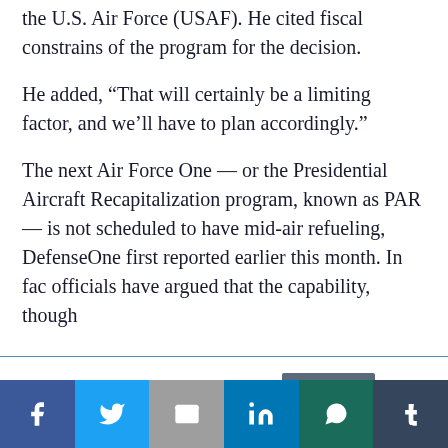the U.S. Air Force (USAF). He cited fiscal constrains of the program for the decision.
He added, “That will certainly be a limiting factor, and we’ll have to plan accordingly.”
The next Air Force One — or the Presidential Aircraft Recapitalization program, known as PAR — is not scheduled to have mid-air refueling, DefenseOne first reported earlier this month. In fac officials have argued that the capability, though
This website uses cookies.
[Figure (infographic): Social media sharing bar with icons for Facebook, Twitter, Gmail/Google, LinkedIn, WhatsApp, and Tumblr]